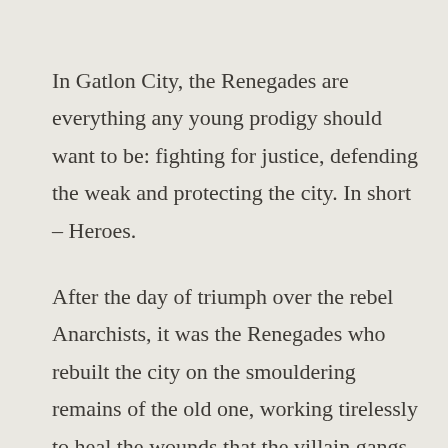In Gatlon City, the Renegades are everything any young prodigy should want to be: fighting for justice, defending the weak and protecting the city. In short – Heroes.
After the day of triumph over the rebel Anarchists, it was the Renegades who rebuilt the city on the smouldering remains of the old one, working tirelessly to heal the wounds that the villain gangs had left upon